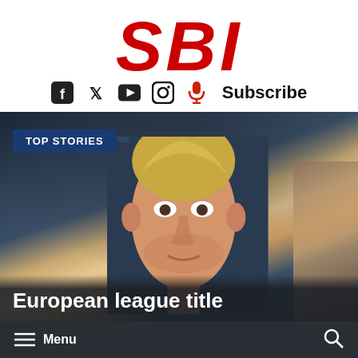[Figure (logo): SBI logo in bold red italic letters]
[Figure (infographic): Social media icons: Facebook, Twitter, YouTube, Instagram, microphone/podcast icon (red), followed by Subscribe text]
[Figure (photo): Football player (Kevin De Bruyne) in a dark stadium crowd, close-up face shot]
TOP STORIES
European league title
Menu  [search icon]